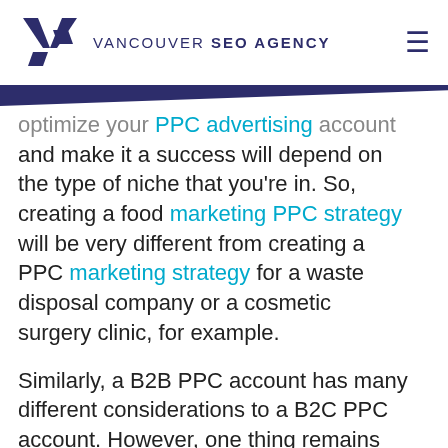VANCOUVER SEO AGENCY
optimize your PPC advertising account and make it a success will depend on the type of niche that you're in. So, creating a food marketing PPC strategy will be very different from creating a PPC marketing strategy for a waste disposal company or a cosmetic surgery clinic, for example.

Similarly, a B2B PPC account has many different considerations to a B2C PPC account. However, one thing remains the same across all PPC accounts